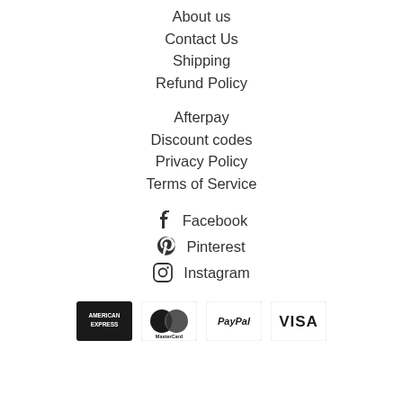About us
Contact Us
Shipping
Refund Policy
Afterpay
Discount codes
Privacy Policy
Terms of Service
Facebook
Pinterest
Instagram
[Figure (logo): Payment method logos: American Express, MasterCard, PayPal, VISA]